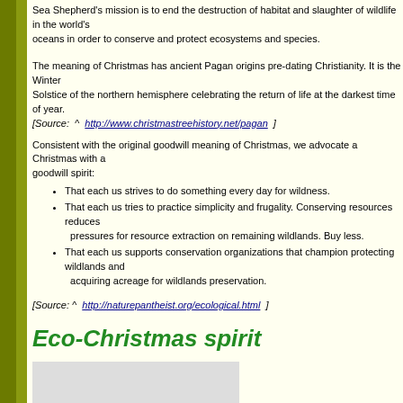Sea Shepherd's mission is to end the destruction of habitat and slaughter of wildlife in the world's oceans in order to conserve and protect ecosystems and species.
The meaning of Christmas has ancient Pagan origins pre-dating Christianity. It is the Winter Solstice of the northern hemisphere celebrating the return of life at the darkest time of year. [Source: ^ http://www.christmastreehistory.net/pagan ]
Consistent with the original goodwill meaning of Christmas, we advocate a Christmas with a goodwill spirit:
That each us strives to do something every day for wildness.
That each us tries to practice simplicity and frugality. Conserving resources reduces pressures for resource extraction on remaining wildlands. Buy less.
That each us supports conservation organizations that champion protecting wildlands and acquiring acreage for wildlands preservation.
[Source: ^ http://naturepantheist.org/ecological.html ]
Eco-Christmas spirit
[Figure (photo): An image placeholder (gray rectangle) below the Eco-Christmas spirit heading]